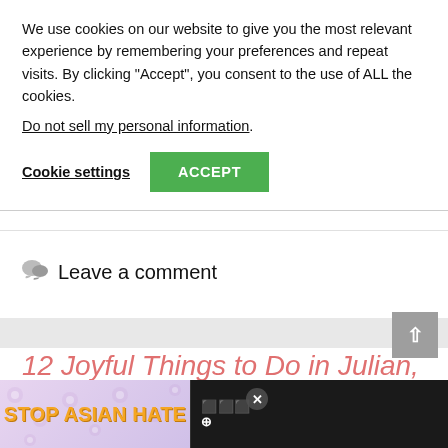We use cookies on our website to give you the most relevant experience by remembering your preferences and repeat visits. By clicking "Accept", you consent to the use of ALL the cookies.
Do not sell my personal information.
Cookie settings  ACCEPT
Leave a comment
12 Joyful Things to Do in Julian, CA on a Weekend Trip
[Figure (other): Stop Asian Hate advertisement banner with floral background, orange bold text, and animated character illustration]